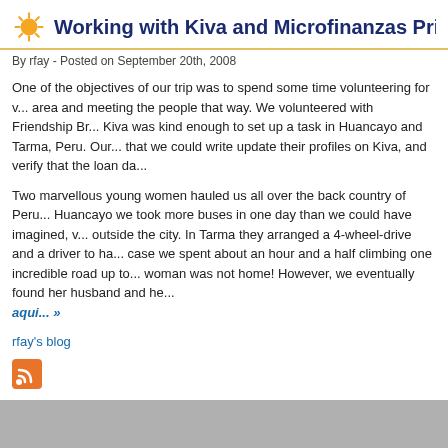Working with Kiva and Microfinanzas Prisma
By rfay - Posted on September 20th, 2008
One of the objectives of our trip was to spend some time volunteering for w... area and meeting the people that way. We volunteered with Friendship Br... Kiva was kind enough to set up a task in Huancayo and Tarma, Peru. Our... that we could write update their profiles on Kiva, and verify that the loan da...
Two marvellous young women hauled us all over the back country of Peru... Huancayo we took more buses in one day than we could have imagined, w... outside the city. In Tarma they arranged a 4-wheel-drive and a driver to ha... case we spent about an hour and a half climbing one incredible road up to... woman was not home! However, we eventually found her husband and he...
aqui... »
rfay's blog
[Figure (other): RSS feed icon - orange square with white wave signal symbol]